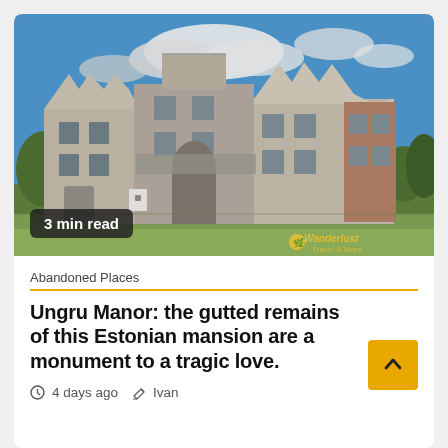[Figure (photo): Ruins of Ungru Manor, an Estonian mansion with Gothic-style stepped gables, crumbling stone walls, blue sky with clouds and green vegetation in foreground.]
3 min read
Abandoned Places
Ungru Manor: the gutted remains of this Estonian mansion are a monument to a tragic love.
4 days ago  Ivan